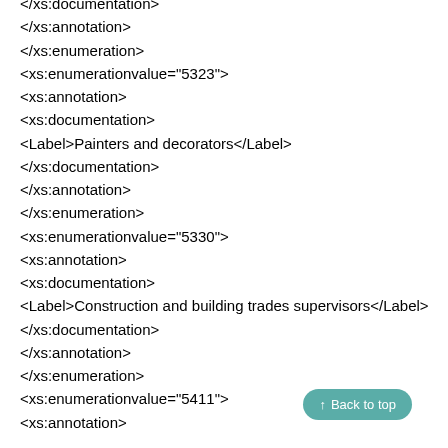</xs:documentation>
</xs:annotation>
</xs:enumeration>
<xs:enumerationvalue="5323">
<xs:annotation>
<xs:documentation>
<Label>Painters and decorators</Label>
</xs:documentation>
</xs:annotation>
</xs:enumeration>
<xs:enumerationvalue="5330">
<xs:annotation>
<xs:documentation>
<Label>Construction and building trades supervisors</Label>
</xs:documentation>
</xs:annotation>
</xs:enumeration>
<xs:enumerationvalue="5411">
<xs:annotation>